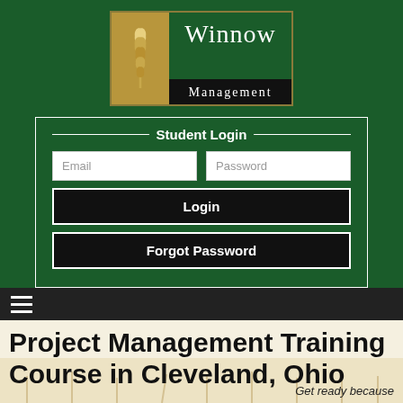[Figure (logo): Winnow Management logo with wheat stalk icon on gold background and dark management bar]
Student Login
Email
Password
Login
Forgot Password
[Figure (screenshot): Navigation bar with hamburger menu icon]
Project Management Training Course in Cleveland, Ohio
Get ready because